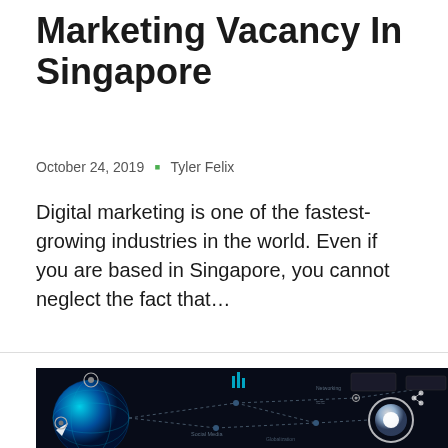Marketing Vacancy In Singapore
October 24, 2019  ·  Tyler Felix
Digital marketing is one of the fastest-growing industries in the world. Even if you are based in Singapore, you cannot neglect the fact that…
[Figure (photo): Dark digital network/social media connectivity image showing a globe, interconnected circles, dashed lines, and icons for social media, globalization, networking on a dark background]